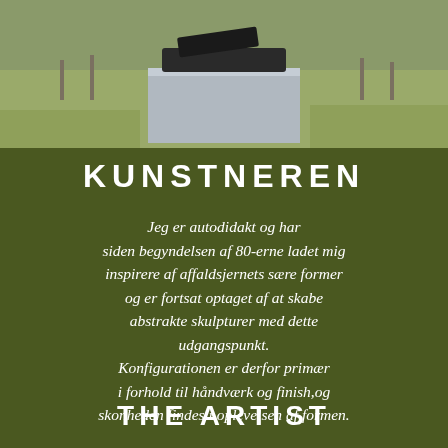[Figure (photo): Outdoor photograph showing a grey sculptural pedestal with a dark abstract sculpture on top, set in a meadow with grass and fence posts in the background.]
KUNSTNEREN
Jeg er autodidakt og har siden begyndelsen af 80-erne ladet mig inspirere af affaldsjernets sære former og er fortsat optaget af at skabe abstrakte skulpturer med dette udgangspunkt. Konfigurationen er derfor primær i forhold til håndværk og finish,og skonheden findes i oplevelsen af formen.
THE ARTIST